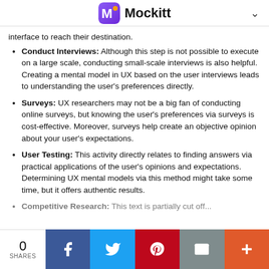Mockitt
interface to reach their destination.
Conduct Interviews: Although this step is not possible to execute on a large scale, conducting small-scale interviews is also helpful. Creating a mental model in UX based on the user interviews leads to understanding the user's preferences directly.
Surveys: UX researchers may not be a big fan of conducting online surveys, but knowing the user's preferences via surveys is cost-effective. Moreover, surveys help create an objective opinion about your user's expectations.
User Testing: This activity directly relates to finding answers via practical applications of the user's opinions and expectations. Determining UX mental models via this method might take some time, but it offers authentic results.
Competitive Research: This text is partially cut off at bottom.
0 SHARES | Share on Facebook | Share on Twitter | Share on Pinterest | Share via Email | More